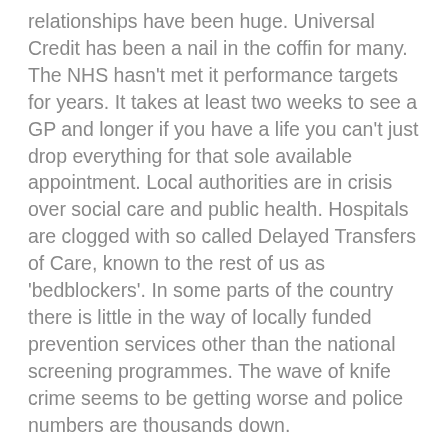relationships have been huge. Universal Credit has been a nail in the coffin for many. The NHS hasn't met it performance targets for years. It takes at least two weeks to see a GP and longer if you have a life you can't just drop everything for that sole available appointment. Local authorities are in crisis over social care and public health. Hospitals are clogged with so called Delayed Transfers of Care, known to the rest of us as 'bedblockers'. In some parts of the country there is little in the way of locally funded prevention services other than the national screening programmes. The wave of knife crime seems to be getting worse and police numbers are thousands down.
Yet for the last two years the country's political